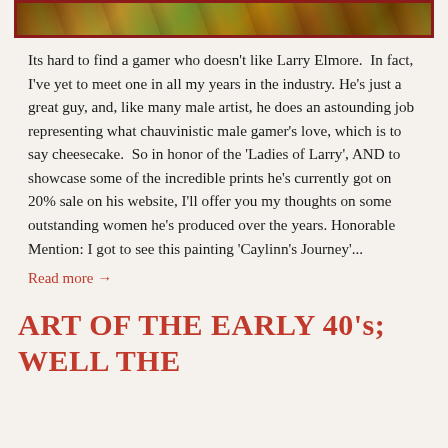[Figure (illustration): Cropped illustration showing a fantasy/gaming themed image with warm golden and earth tones, framed with a dark red border]
Its hard to find a gamer who doesn't like Larry Elmore.  In fact, I've yet to meet one in all my years in the industry. He's just a great guy, and, like many male artist, he does an astounding job representing what chauvinistic male gamer's love, which is to say cheesecake.  So in honor of the 'Ladies of Larry', AND to showcase some of the incredible prints he's currently got on 20% sale on his website, I'll offer you my thoughts on some outstanding women he's produced over the years. Honorable Mention: I got to see this painting 'Caylinn's Journey'...
Read more →
ART OF THE EARLY 40's; WELL THE